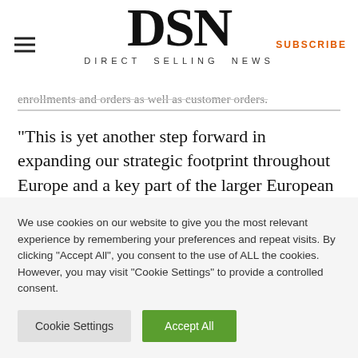DSN DIRECT SELLING NEWS
enrollments and orders as well as customer orders.
“This is yet another step forward in expanding our strategic footprint throughout Europe and a key part of the larger European plan,” said Dave Fleming, [...]
We use cookies on our website to give you the most relevant experience by remembering your preferences and repeat visits. By clicking “Accept All”, you consent to the use of ALL the cookies. However, you may visit "Cookie Settings" to provide a controlled consent.